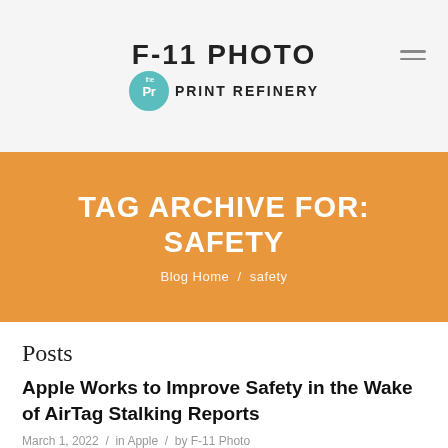F-11 PHOTO the PRINT REFINERY
TAG ARCHIVE FOR: SAFETY
Blog Home / safety
Posts
Apple Works to Improve Safety in the Wake of AirTag Stalking Reports
March 1, 2022 / in Apple / by F-11 Photo